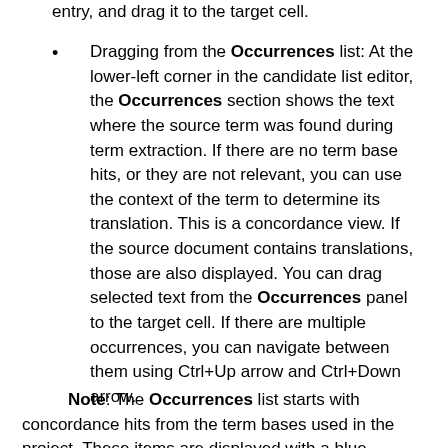entry, and drag it to the target cell.
Dragging from the Occurrences list: At the lower-left corner in the candidate list editor, the Occurrences section shows the text where the source term was found during term extraction. If there are no term base hits, or they are not relevant, you can use the context of the term to determine its translation. This is a concordance view. If the source document contains translations, those are also displayed. You can drag selected text from the Occurrences panel to the target cell. If there are multiple occurrences, you can navigate between them using Ctrl+Up arrow and Ctrl+Down arrow.
Note: The Occurrences list starts with concordance hits from the term bases used in the project. These items are displayed with a blue